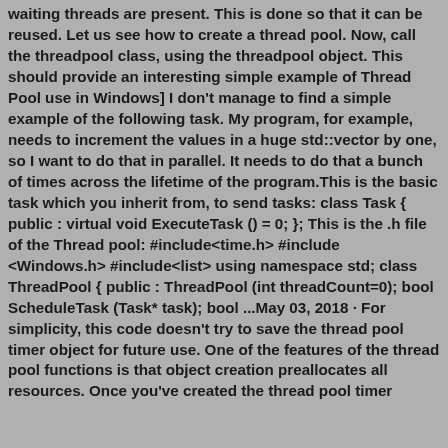waiting threads are present. This is done so that it can be reused. Let us see how to create a thread pool. Now, call the threadpool class, using the threadpool object. This should provide an interesting simple example of Thread Pool use in Windows] I don't manage to find a simple example of the following task. My program, for example, needs to increment the values in a huge std::vector by one, so I want to do that in parallel. It needs to do that a bunch of times across the lifetime of the program.This is the basic task which you inherit from, to send tasks: class Task { public : virtual void ExecuteTask () = 0; }; This is the .h file of the Thread pool: #include<time.h> #include <Windows.h> #include<list> using namespace std; class ThreadPool { public : ThreadPool (int threadCount=0); bool ScheduleTask (Task* task); bool ...May 03, 2018 · For simplicity, this code doesn't try to save the thread pool timer object for future use. One of the features of the thread pool functions is that object creation preallocates all resources. Once you've created the thread pool timer